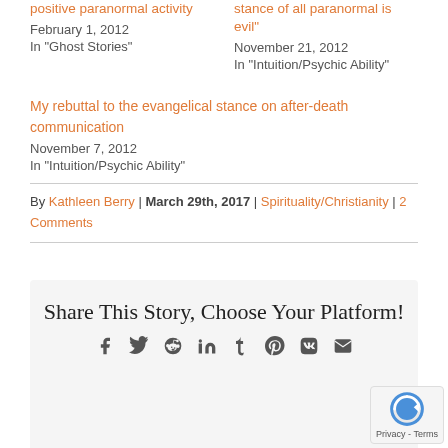positive paranormal activity
February 1, 2012
In "Ghost Stories"
stance of all paranormal is evil"
November 21, 2012
In "Intuition/Psychic Ability"
My rebuttal to the evangelical stance on after-death communication
November 7, 2012
In "Intuition/Psychic Ability"
By Kathleen Berry | March 29th, 2017 | Spirituality/Christianity | 2 Comments
Share This Story, Choose Your Platform!
[Figure (other): Social sharing icons: facebook, twitter, reddit, linkedin, tumblr, pinterest, vk, email]